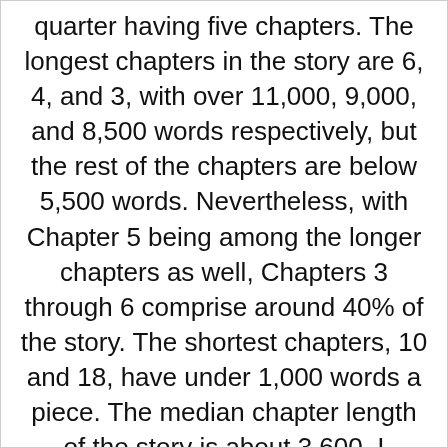quarter having five chapters. The longest chapters in the story are 6, 4, and 3, with over 11,000, 9,000, and 8,500 words respectively, but the rest of the chapters are below 5,500 words. Nevertheless, with Chapter 5 being among the longer chapters as well, Chapters 3 through 6 comprise around 40% of the story. The shortest chapters, 10 and 18, have under 1,000 words a piece. The median chapter length of the story is about 3,600. I include a word count at the top of each chapter.